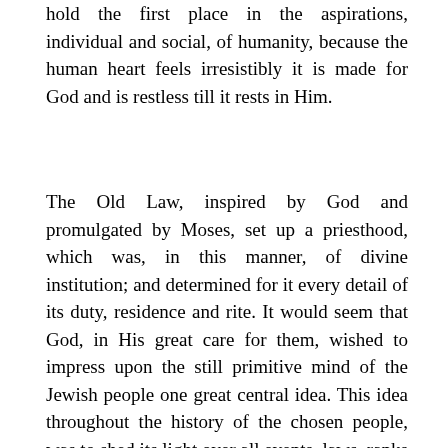hold the first place in the aspirations, individual and social, of humanity, because the human heart feels irresistibly it is made for God and is restless till it rests in Him.
The Old Law, inspired by God and promulgated by Moses, set up a priesthood, which was, in this manner, of divine institution; and determined for it every detail of its duty, residence and rite. It would seem that God, in His great care for them, wished to impress upon the still primitive mind of the Jewish people one great central idea. This idea throughout the history of the chosen people, was to shed its light over all events, laws, ranks and offices: the idea of sacrifice and priesthood. These